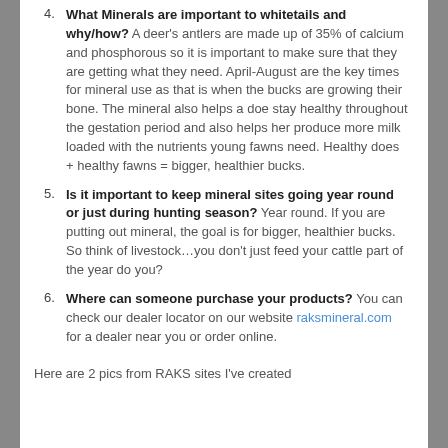4. What Minerals are important to whitetails and why/how? A deer's antlers are made up of 35% of calcium and phosphorous so it is important to make sure that they are getting what they need. April-August are the key times for mineral use as that is when the bucks are growing their bone. The mineral also helps a doe stay healthy throughout the gestation period and also helps her produce more milk loaded with the nutrients young fawns need. Healthy does + healthy fawns = bigger, healthier bucks.
5. Is it important to keep mineral sites going year round or just during hunting season? Year round. If you are putting out mineral, the goal is for bigger, healthier bucks. So think of livestock…you don't just feed your cattle part of the year do you?
6. Where can someone purchase your products? You can check our dealer locator on our website raksmineral.com for a dealer near you or order online.
Here are 2 pics from RAKS sites I've created